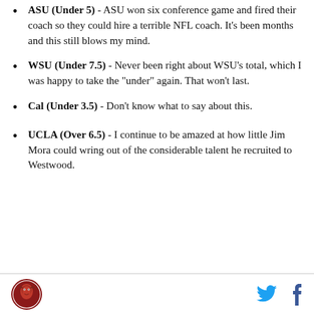ASU (Under 5) - ASU won six conference game and fired their coach so they could hire a terrible NFL coach. It’s been months and this still blows my mind.
WSU (Under 7.5) - Never been right about WSU’s total, which I was happy to take the “under” again. That won’t last.
Cal (Under 3.5) - Don’t know what to say about this.
UCLA (Over 6.5) - I continue to be amazed at how little Jim Mora could wring out of the considerable talent he recruited to Westwood.
Logo and social media icons